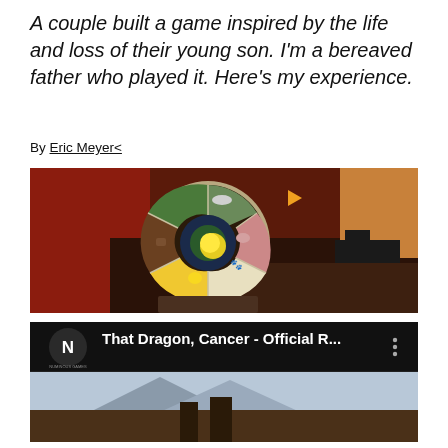A couple built a game inspired by the life and loss of their young son. I'm a bereaved father who played it. Here's my experience.
By Eric Meyer<
[Figure (screenshot): Screenshot from the game 'That Dragon, Cancer' showing a circular menu wheel with animal icons on a dark background, surrounded by colorful game environment. A person's legs in sandals visible on the right.]
[Figure (screenshot): YouTube video thumbnail for 'That Dragon, Cancer - Official R...' showing the Numinous Games logo (N in a circle) on the left, video title text, and a three-dot menu icon on the right. Below is a partial game scene.]